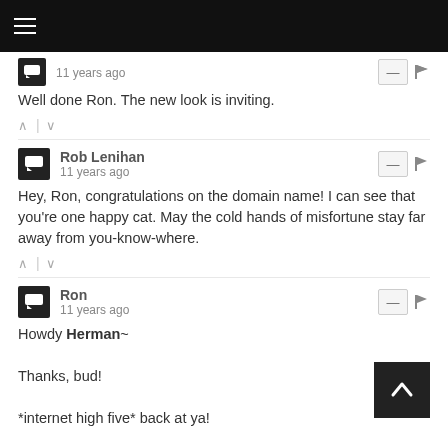11 years ago
Well done Ron. The new look is inviting.
Rob Lenihan
11 years ago
Hey, Ron, congratulations on the domain name! I can see that you're one happy cat. May the cold hands of misfortune stay far away from you-know-where.
Ron
11 years ago
Howdy Herman~

Thanks, bud!

*internet high five* back at ya!

Thank you for stopping by and a faaaaaaaaaaaaabulous week!